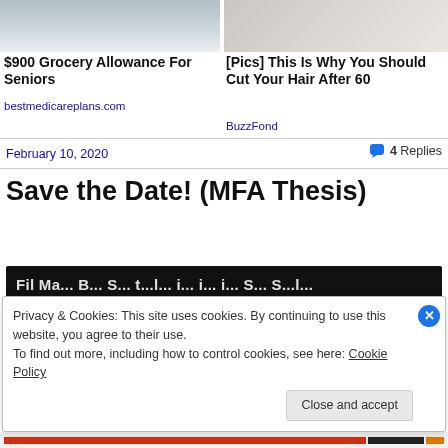[Figure (photo): Advertisement image left: person with shopping cart in store]
[Figure (photo): Advertisement image right: close-up of gray hair]
$900 Grocery Allowance For Seniors
bestmedicareplans.com
[Pics] This Is Why You Should Cut Your Hair After 60
BuzzFond
February 10, 2020
4 Replies
Save the Date! (MFA Thesis)
[Figure (screenshot): Dark header image strip with partial white text visible]
Privacy & Cookies: This site uses cookies. By continuing to use this website, you agree to their use.
To find out more, including how to control cookies, see here: Cookie Policy
Close and accept